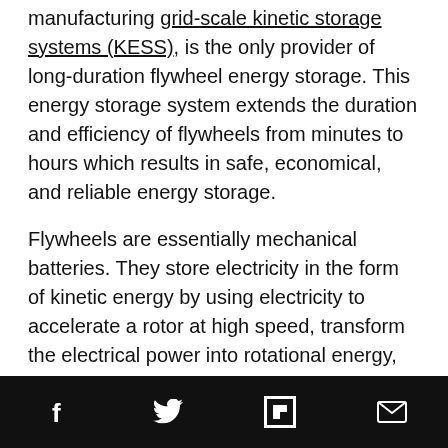manufacturing grid-scale kinetic storage systems (KESS), is the only provider of long-duration flywheel energy storage. This energy storage system extends the duration and efficiency of flywheels from minutes to hours which results in safe, economical, and reliable energy storage.
Flywheels are essentially mechanical batteries. They store electricity in the form of kinetic energy by using electricity to accelerate a rotor at high speed, transform the electrical power into rotational energy, and then store it. After this process, the energy can then be used by slowing the flywheel, which converts the kinetic energy back to electrical energy.
This environmentally-conscious option is preferable to chemical batteries in many ways. Flywheel energy storage solutions are low maintenance and have a long ... ge ... riences